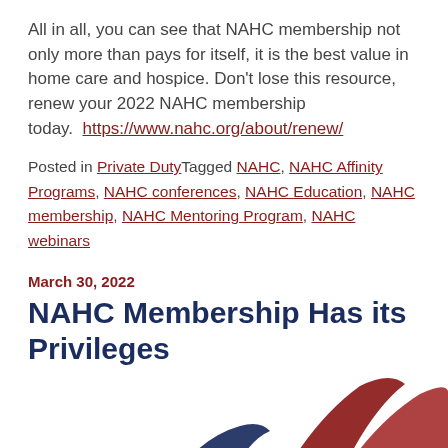All in all, you can see that NAHC membership not only more than pays for itself, it is the best value in home care and hospice. Don't lose this resource, renew your 2022 NAHC membership today.  https://www.nahc.org/about/renew/
Posted in Private DutyTagged NAHC, NAHC Affinity Programs, NAHC conferences, NAHC Education, NAHC membership, NAHC Mentoring Program, NAHC webinars
March 30, 2022
NAHC Membership Has its Privileges
[Figure (logo): Partial NAHC logo visible at bottom of page — red swoosh/arc shapes on white background]